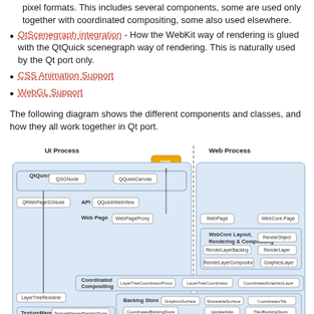pixel formats. This includes several components, some are used only together with coordinated compositing, some also used elsewhere.
QtScenegraph integration - How the WebKit way of rendering is glued with the QtQuick scenegraph way of rendering. This is naturally used by the Qt port only.
CSS Animation Support
WebGL Support
The following diagram shows the different components and classes, and how they all work together in Qt port.
[Figure (flowchart): Architecture diagram showing UI Process and Web Process components including QtQuick, QSGNode, QQuickCanvas, QfWebPageSGNode, API, QQuickWebView, Web Page, WebPageProxy, WebPage, WebCore Layout Rendering & Compositing with RenderObject, RenderLayer, RenderLayerBacking, RenderLayerCompositor, GraphicsLayer, Coordinated Compositing with LayerTreeCoordinatorProxy, LayerTreeCoordinator, CoordinatedGraphicsLayer, Backing Store with GraphicsSurface, ShareableSurface, CoordinatesTile, CoordinatedBackingStore, UpdateAtlas, TiledBackingStore, LayerTreeRenderer, TextureMapper with TextureMapperBackingStore, TextureMapperGL, TextureMapperLayer, QML (orange), HTML5/CSS (orange), OpenGL ES 2.0]